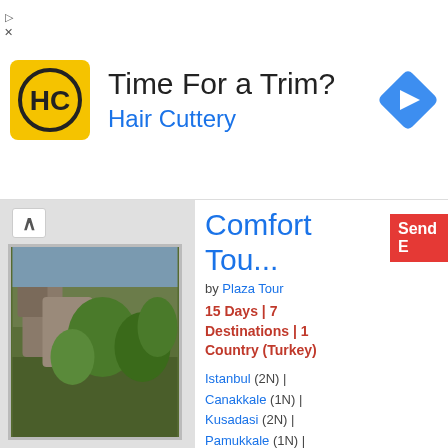[Figure (infographic): Hair Cuttery advertisement banner with yellow logo, 'Time For a Trim?' heading, 'Hair Cuttery' subtitle in blue, and blue direction arrow icon]
[Figure (photo): Outdoor landscape photo showing rocky terrain and green trees/shrubs]
Comfort Tou...
by Plaza Tour
15 Days | 7 Destinations | 1 Country (Turkey)
Istanbul (2N) | Canakkale (1N) | Kusadasi (2N) | Pamukkale (1N) | Fethiye (2N) | Antalya (2N) | Urgup (3N) | Istanbul (1N)
Enjoy a wonderful 15 days tour of Turkey that covers attractions like Istanbul, Gallipoli, Troy, Acropolis,